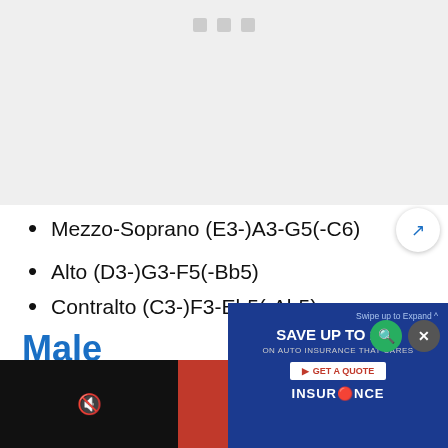[Figure (other): Top gray image/media area, partially loaded or blank]
Mezzo-Soprano (E3-)A3-G5(-C6)
Alto (D3-)G3-F5(-Bb5)
Contralto (C3-)F3-Eb5(-Ab5)
Male
[Figure (other): Bottom red/black video bar with insurance advertisement overlay]